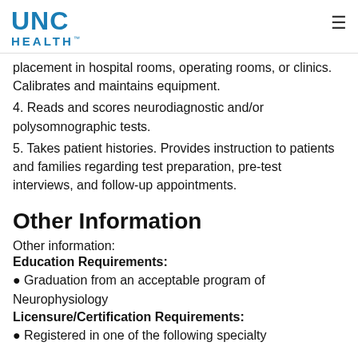UNC HEALTH
placement in hospital rooms, operating rooms, or clinics. Calibrates and maintains equipment.
4. Reads and scores neurodiagnostic and/or polysomnographic tests.
5. Takes patient histories. Provides instruction to patients and families regarding test preparation, pre-test interviews, and follow-up appointments.
Other Information
Other information:
Education Requirements:
• Graduation from an acceptable program of Neurophysiology
Licensure/Certification Requirements:
• Registered in one of the following specialty